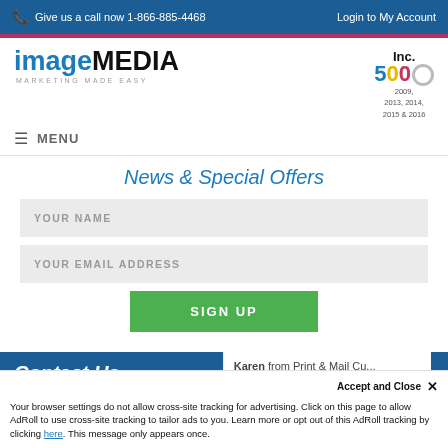Give us a call now 1-866-885-4468   Login to My Account
[Figure (logo): imageMEDIA logo with tagline MARKETING MADE EASY and Inc. 500 badge for 2009, 2013, 2014, 2015 & 2016]
MENU
News & Special Offers
YOUR NAME
YOUR EMAIL ADDRESS
SIGN UP
Contact Us
Karen from Print & Mail Cu...
Accept and Close ✕
Your browser settings do not allow cross-site tracking for advertising. Click on this page to allow AdRoll to use cross-site tracking to tailor ads to you. Learn more or opt out of this AdRoll tracking by clicking here. This message only appears once.